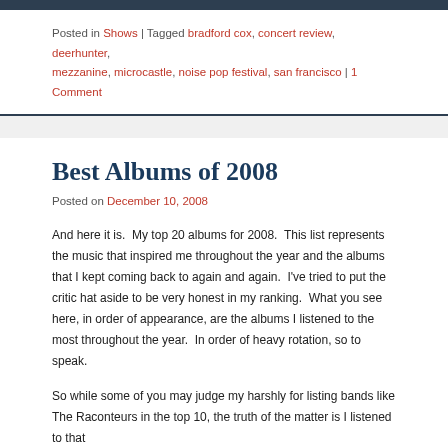Posted in Shows | Tagged bradford cox, concert review, deerhunter, mezzanine, microcastle, noise pop festival, san francisco | 1 Comment
Best Albums of 2008
Posted on December 10, 2008
And here it is.  My top 20 albums for 2008.  This list represents the music that inspired me throughout the year and the albums that I kept coming back to again and again.  I've tried to put the critic hat aside to be very honest in my ranking.  What you see here, in order of appearance, are the albums I listened to the most throughout the year.  In order of heavy rotation, so to speak.
So while some of you may judge my harshly for listing bands like The Raconteurs in the top 10, the truth of the matter is I listened to that